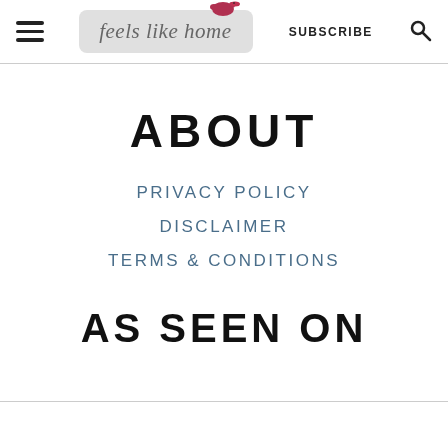feels like home — SUBSCRIBE [search icon]
ABOUT
PRIVACY POLICY
DISCLAIMER
TERMS & CONDITIONS
AS SEEN ON